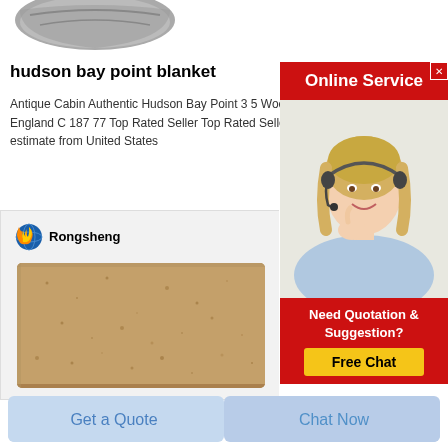[Figure (photo): Partial image of a gray blanket or fabric item at the top left]
hudson bay point blanket
Antique Cabin Authentic Hudson Bay Point 3 5 Wool B England C 187 77 Top Rated Seller Top Rated Seller B estimate from United States
[Figure (infographic): Online Service advertisement overlay with red header, woman wearing headset, 'Need Quotation & Suggestion?' text, and yellow 'Free Chat' button]
[Figure (photo): Rongsheng brand product image showing a brown refractory brick on a light gray background, with Rongsheng logo (globe and flame) at top left]
Get a Quote
Chat Now